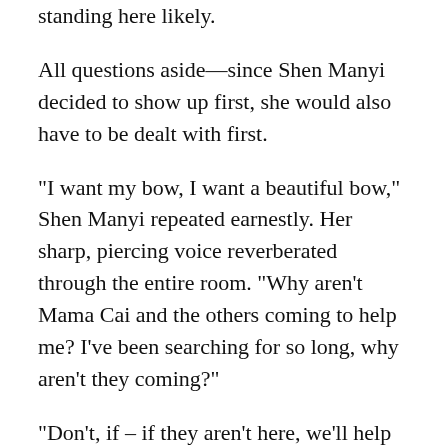standing here likely.
All questions aside—since Shen Manyi decided to show up first, she would also have to be dealt with first.
“I want my bow, I want a beautiful bow,” Shen Manyi repeated earnestly. Her sharp, piercing voice reverberated through the entire room. “Why aren’t Mama Cai and the others coming to help me? I’ve been searching for so long, why aren’t they coming?”
“Don’t, if – if they aren’t here, we’ll help you.” Da Dong noticed that the black mist around her body was starting to surge more and more violently, and